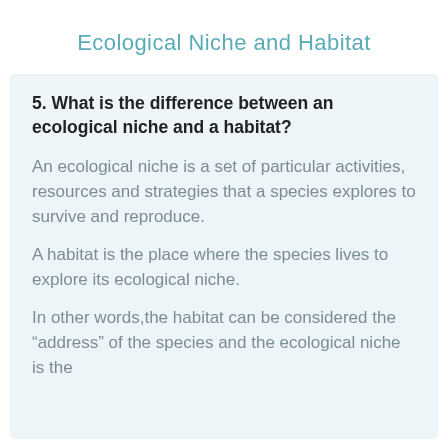Ecological Niche and Habitat
5. What is the difference between an ecological niche and a habitat?
An ecological niche is a set of particular activities, resources and strategies that a species explores to survive and reproduce.
A habitat is the place where the species lives to explore its ecological niche.
In other words,the habitat can be considered the “address” of the species and the ecological niche is the “profession” of the species.